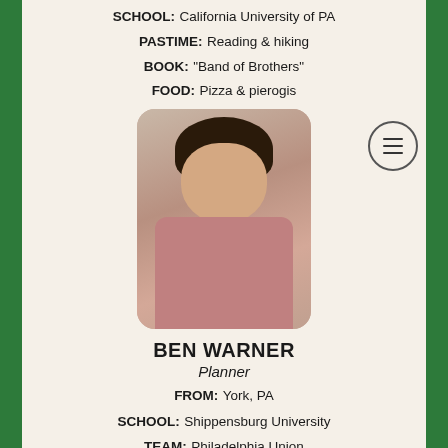SCHOOL: California University of PA
PASTIME: Reading & hiking
BOOK: "Band of Brothers"
FOOD: Pizza & pierogis
[Figure (photo): Headshot of Ben Warner, a young man with curly dark hair wearing a pink button-up shirt, seated with a plant visible behind him]
BEN WARNER
Planner
FROM: York, PA
SCHOOL: Shippensburg University
TEAM: Philadelphia Union
VACATION: Family cabin
FOOD: Tacos
[Figure (photo): Partial photo of next person, showing top of head with blonde/light hair]